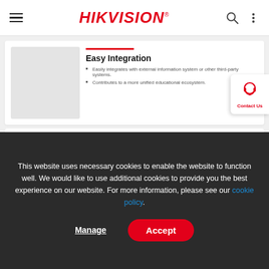HIKVISION®
Easy Integration
Easily integrates with external information system or other third-party systems.
Contributes to a more unified educational ecosystem.
Multi-Scenario Attendance Check
Takes full consideration of attendance management under various scenarios.
Satisfies the management needs from kindergartens to higher institutes.
This website uses necessary cookies to enable the website to function well. We would like to use additional cookies to provide you the best experience on our website. For more information, please see our cookie policy.
Manage
Accept